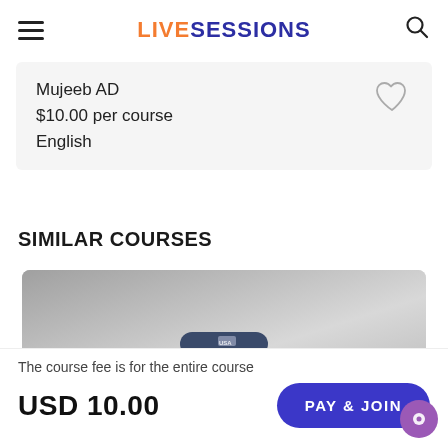LIVESESSIONS
Mujeeb AD
$10.00 per course
English
SIMILAR COURSES
[Figure (photo): Photo of a person wearing a dark blue cap, shot against a grey background, showing the upper body/head area of the subject.]
The course fee is for the entire course
USD 10.00
PAY & JOIN